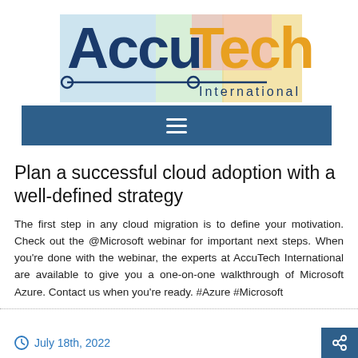[Figure (logo): AccuTech International logo with colored background rectangles and circuit-style connector line graphic]
[Figure (other): Dark blue navigation bar with hamburger menu icon (three horizontal white lines)]
Plan a successful cloud adoption with a well-defined strategy
The first step in any cloud migration is to define your motivation. Check out the @Microsoft webinar for important next steps. When you're done with the webinar, the experts at AccuTech International are available to give you a one-on-one walkthrough of Microsoft Azure. Contact us when you're ready. #Azure #Microsoft
July 18th, 2022